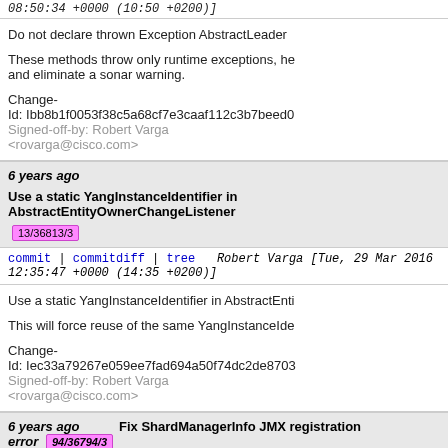08:50:34 +0000 (10:50 +0200)]
Do not declare thrown Exception AbstractLeader

These methods throw only runtime exceptions, he and eliminate a sonar warning.

Change-Id: Ibb8b1f0053f38c5a68cf7e3caaf112c3b7beed0
Signed-off-by: Robert Varga <rovarga@cisco.com>
6 years ago Use a static YangInstanceIdentifier in AbstractEntityOwnerChangeListener 13/36813/3
commit | commitdiff | tree   Robert Varga [Tue, 29 Mar 2016 12:35:47 +0000 (14:35 +0200)]
Use a static YangInstanceIdentifier in AbstractEnti

This will force reuse of the same YangInstanceIde

Change-Id: Iec33a79267e059ee7fad694a50f74dc2de8703
Signed-off-by: Robert Varga <rovarga@cisco.com>
6 years ago Fix ShardManagerInfo JMX registration error 94/36794/3
commit | commitdiff | tree   Tom Pantelis [Tue, 29 Mar 2016